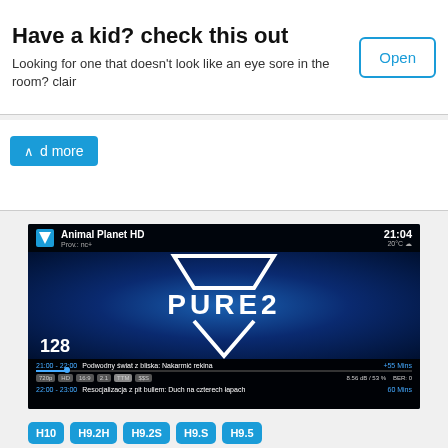Have a kid? check this out
Looking for one that doesn't look like an eye sore in the room? clair
[Figure (screenshot): TV interface showing Animal Planet HD channel, channel number 128, PURE2 logo, program info: 21:00-22:00 Podwodny świat z bliska: Nakarmić rekina +55 Mins, 22:00-23:00 Resocjalizacja z pit bullem: Duch na czterech łapach 60 Mins, time 21:04, 20°C]
H10 H9.2H H9.2S H9.S H9.5